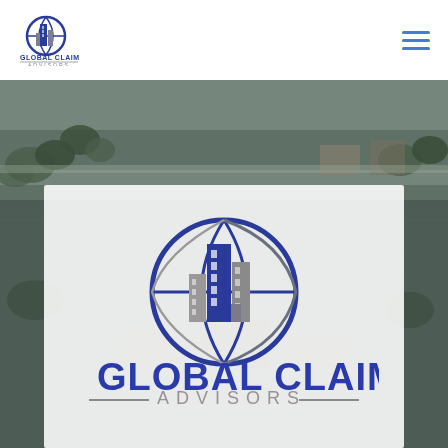[Figure (logo): Global Claim Advisors logo - small version in header, showing building/globe icon with company name]
[Figure (photo): Aerial view of flooded neighborhood with submerged streets and trees visible above water]
[Figure (logo): Global Claim Advisors large logo on semi-transparent white card overlay - building/globe icon with GLOBAL CLAIM text and ADVISORS subtitle]